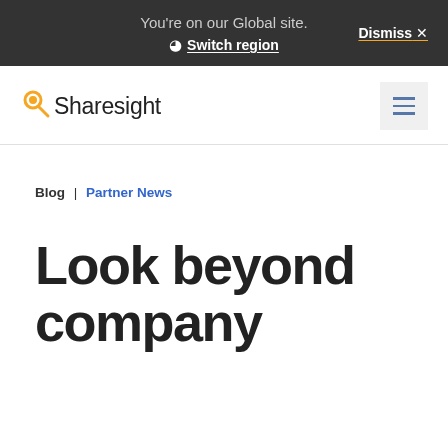You're on our Global site. Switch region Dismiss ×
[Figure (logo): Sharesight logo with magnifying glass icon and wordmark]
Blog | Partner News
Look beyond company